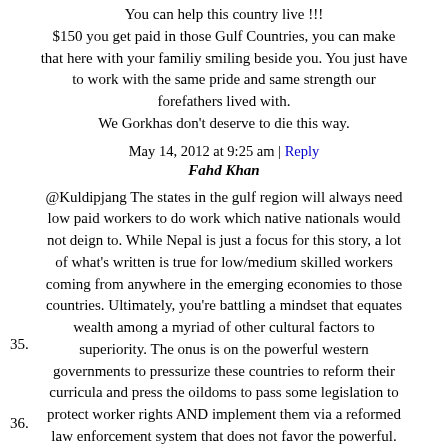You can help this country live !!!
$150 you get paid in those Gulf Countries, you can make that here with your familiy smiling beside you. You just have to work with the same pride and same strength our forefathers lived with.
We Gorkhas don't deserve to die this way.
May 14, 2012 at 9:25 am | Reply
35.
Fahd Khan
@Kuldipjang The states in the gulf region will always need low paid workers to do work which native nationals would not deign to. While Nepal is just a focus for this story, a lot of what's written is true for low/medium skilled workers coming from anywhere in the emerging economies to those countries. Ultimately, you're battling a mindset that equates wealth among a myriad of other cultural factors to superiority. The onus is on the powerful western governments to pressurize these countries to reform their curricula and press the oildoms to pass some legislation to protect worker rights AND implement them via a reformed law enforcement system that does not favor the powerful.
May 14, 2012 at 9:38 am | Reply
36.
Paul